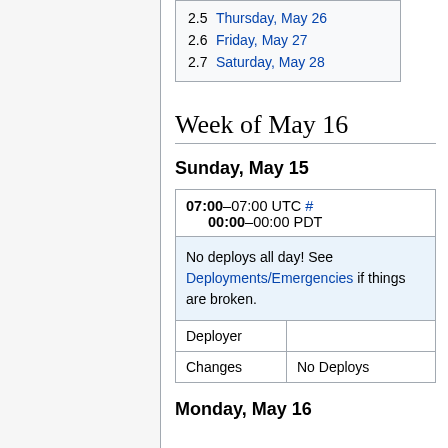2.5  Thursday, May 26
2.6  Friday, May 27
2.7  Saturday, May 28
Week of May 16
Sunday, May 15
| 07:00–07:00 UTC #
00:00–00:00 PDT |
| No deploys all day! See Deployments/Emergencies if things are broken. |
| Deployer |  |
| Changes | No Deploys |
Monday, May 16